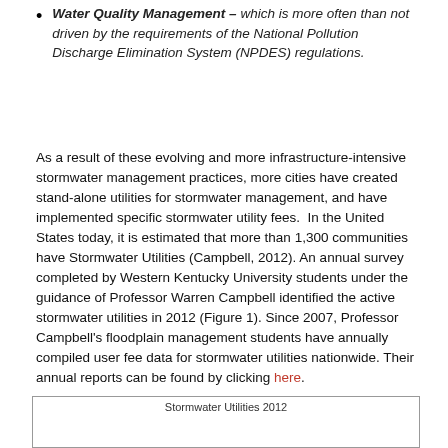Water Quality Management – which is more often than not driven by the requirements of the National Pollution Discharge Elimination System (NPDES) regulations.
As a result of these evolving and more infrastructure-intensive stormwater management practices, more cities have created stand-alone utilities for stormwater management, and have implemented specific stormwater utility fees.  In the United States today, it is estimated that more than 1,300 communities have Stormwater Utilities (Campbell, 2012). An annual survey completed by Western Kentucky University students under the guidance of Professor Warren Campbell identified the active stormwater utilities in 2012 (Figure 1). Since 2007, Professor Campbell's floodplain management students have annually compiled user fee data for stormwater utilities nationwide. Their annual reports can be found by clicking here.
[Figure (other): Stormwater Utilities 2012 map/figure (partially visible at bottom of page)]